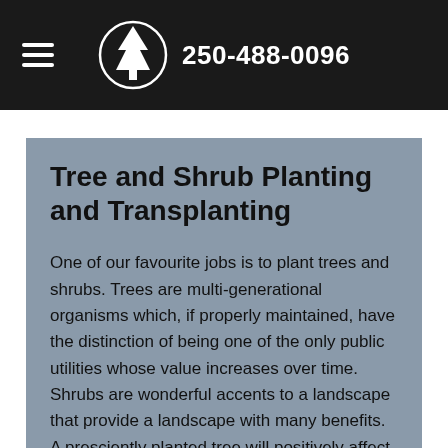250-488-0096
Tree and Shrub Planting and Transplanting
One of our favourite jobs is to plant trees and shrubs. Trees are multi-generational organisms which, if properly maintained, have the distinction of being one of the only public utilities whose value increases over time. Shrubs are wonderful accents to a landscape that provide a landscape with many benefits. A presciently planted tree will positively affect the local environment in which it's planted for decades, perhaps even centuries. It may even save you money on heating and cooling by providing